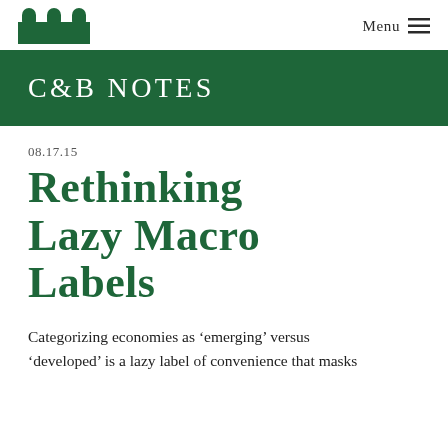Menu
C&B NOTES
08.17.15
Rethinking Lazy Macro Labels
Categorizing economies as ‘emerging’ versus ‘developed’ is a lazy label of convenience that masks